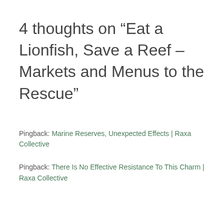4 thoughts on “Eat a Lionfish, Save a Reef – Markets and Menus to the Rescue”
Pingback: Marine Reserves, Unexpected Effects | Raxa Collective
Pingback: There Is No Effective Resistance To This Charm | Raxa Collective